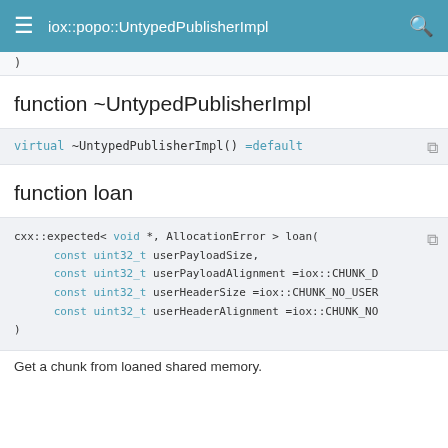iox::popo::UntypedPublisherImpl
)
function ~UntypedPublisherImpl
virtual ~UntypedPublisherImpl() =default
function loan
cxx::expected< void *, AllocationError > loan(
    const uint32_t userPayloadSize,
    const uint32_t userPayloadAlignment =iox::CHUNK_D
    const uint32_t userHeaderSize =iox::CHUNK_NO_USER
    const uint32_t userHeaderAlignment =iox::CHUNK_NO
)
Get a chunk from loaned shared memory.